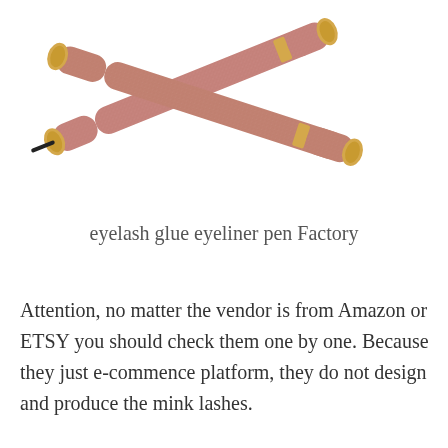[Figure (photo): Two pink glittery eyelash glue eyeliner pens crossed over each other with gold-tone metal caps/tips on a white background]
eyelash glue eyeliner pen Factory
Attention, no matter the vendor is from Amazon or ETSY you should check them one by one. Because they just e-commence platform, they do not design and produce the mink lashes.